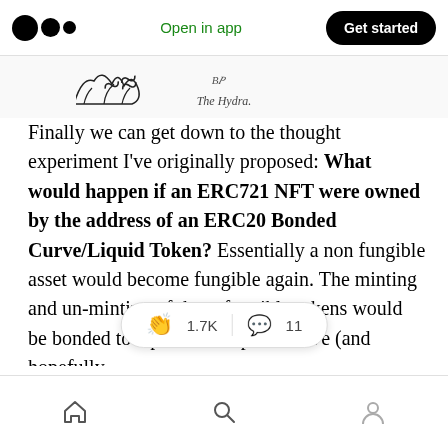Open in app | Get started
[Figure (illustration): Partial sketch of a hydra creature with text 'The Hydra.' below]
The Hydra.
Finally we can get down to the thought experiment I've originally proposed: What would happen if an ERC721 NFT were owned by the address of an ERC20 Bonded Curve/Liquid Token? Essentially a non fungible asset would become fungible again. The minting and un-minting of these fungible tokens would be bonded to a predefined price curve (and hopefully follow [suggested in ERC621). Ultimately [possible to prove
1.7K  11 (reaction bar) | Home | Search | Profile